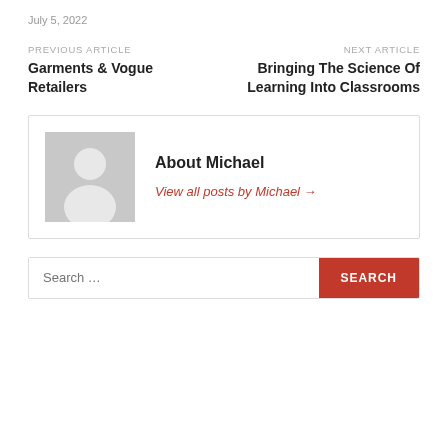July 5, 2022
PREVIOUS ARTICLE
Garments & Vogue Retailers
NEXT ARTICLE
Bringing The Science Of Learning Into Classrooms
About Michael
View all posts by Michael →
Search ...